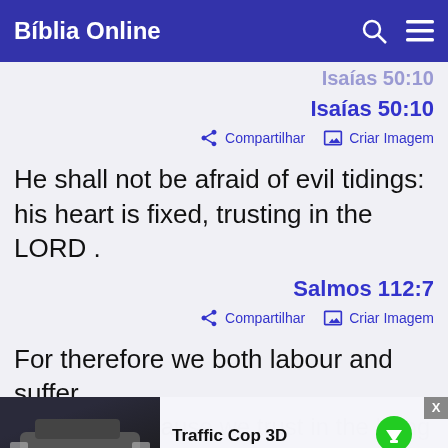Bíblia Online
Isaías 50:10
Compartilhar   Criar Imagem
He shall not be afraid of evil tidings: his heart is fixed, trusting in the LORD .
Salmos 112:7
Compartilhar   Criar Imagem
For therefore we both labour and suffer reproach, because we trust in the living God, who is the saviour of all men
[Figure (screenshot): Mobile app advertisement overlay showing 'Traffic Cop 3D' game with a download button and close button (X)]